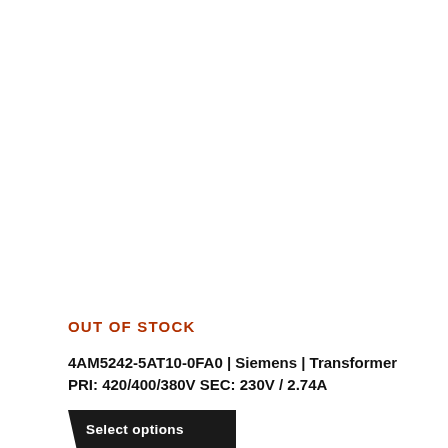OUT OF STOCK
4AM5242-5AT10-0FA0 | Siemens | Transformer PRI: 420/400/380V SEC: 230V / 2.74A
Select options